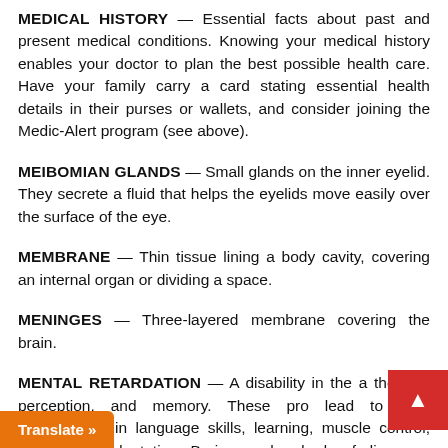MEDICAL HISTORY — Essential facts about past and present medical conditions. Knowing your medical history enables your doctor to plan the best possible health care. Have your family carry a card stating essential health details in their purses or wallets, and consider joining the Medic-Alert program (see above).
MEIBOMIAN GLANDS — Small glands on the inner eyelid. They secrete a fluid that helps the eyelids move easily over the surface of the eye.
MEMBRANE — Thin tissue lining a body cavity, covering an internal organ or dividing a space.
MENINGES — Three-layered membrane covering the brain.
MENTAL RETARDATION — A disability in the a... thought, perception, and memory. These pro... lead to slow development in language skills, learning, muscle control, poor social adaptation. Brain ...rom hundreds of diseases, genetic